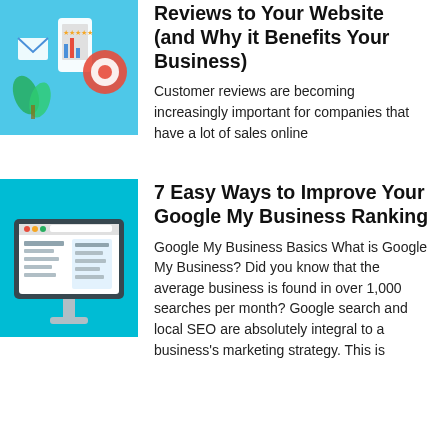[Figure (illustration): Thumbnail illustration showing digital marketing icons including email, charts, and a target on a light blue background]
Reviews to Your Website (and Why it Benefits Your Business)
Customer reviews are becoming increasingly important for companies that have a lot of sales online
[Figure (illustration): Thumbnail illustration showing a desktop computer with a website/dashboard on screen, on a teal background]
7 Easy Ways to Improve Your Google My Business Ranking
Google My Business Basics What is Google My Business? Did you know that the average business is found in over 1,000 searches per month? Google search and local SEO are absolutely integral to a business's marketing strategy. This is